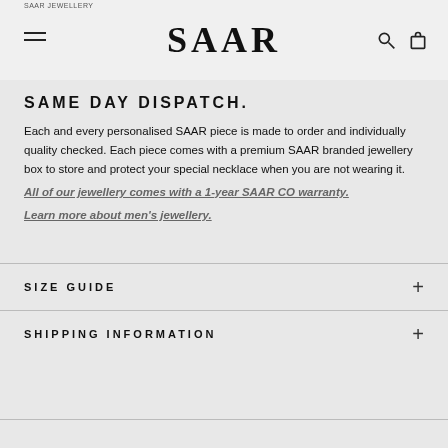SAAR
SAME DAY DISPATCH.
Each and every personalised SAAR piece is made to order and individually quality checked. Each piece comes with a premium SAAR branded jewellery box to store and protect your special necklace when you are not wearing it.
All of our jewellery comes with a 1-year SAAR CO warranty.
Learn more about men's jewellery.
SIZE GUIDE
SHIPPING INFORMATION